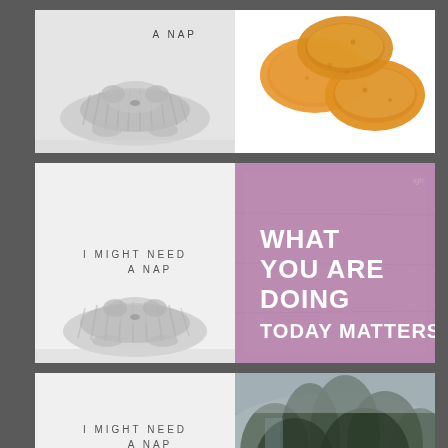[Figure (photo): Sleeping fluffy dog on light background with text 'A NAP' (top row, left cell)]
[Figure (photo): Orange/golden crackers or cookies on white background (top row, right cell)]
[Figure (photo): Sleeping fluffy dog on light background with text 'I MIGHT NEED A NAP' (middle row, left cell)]
[Figure (illustration): Purple/mauve textured background with bold white text: WHAT YOU ARE DOING TODAY MATTERS (middle row, right cell)]
[Figure (photo): Sleeping fluffy dog on light background with text 'I MIGHT NEED A NAP' (bottom row, left cell)]
[Figure (photo): Misty outdoor scene with large dark green trees in foggy weather (bottom row, right cell)]